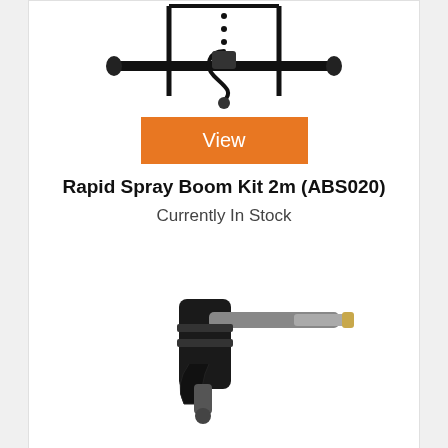[Figure (photo): Photo of a Rapid Spray Boom Kit 2m product (ABS020) — a horizontal metal boom with fittings on both ends and a hose connection in the middle, mounted on a frame]
[Figure (other): Orange rectangular button with white text reading 'View']
Rapid Spray Boom Kit 2m (ABS020)
Currently In Stock
[Figure (photo): Photo of a spray gun / lance product — black pistol-grip handle with a metal lance extending horizontally to the right, with a brass fitting at the end]